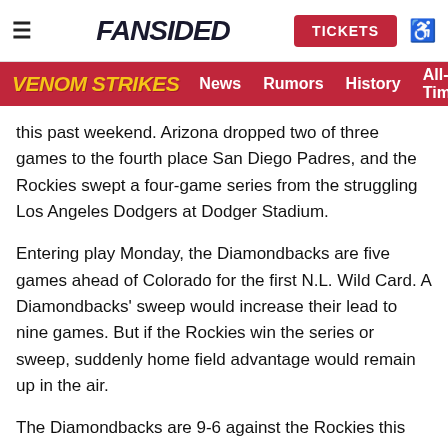FanSided | Venom Strikes — News  Rumors  History  All-Tim...
this past weekend. Arizona dropped two of three games to the fourth place San Diego Padres, and the Rockies swept a four-game series from the struggling Los Angeles Dodgers at Dodger Stadium.
Entering play Monday, the Diamondbacks are five games ahead of Colorado for the first N.L. Wild Card. A Diamondbacks' sweep would increase their lead to nine games. But if the Rockies win the series or sweep, suddenly home field advantage would remain up in the air.
The Diamondbacks are 9-6 against the Rockies this season, including 3-3 at Chase Field and 6-3 at Coors Field. Arizona has won seven of the last eight contests between the two teams. During their 13-game win streak, the Snakes swept three games at Coors Field.
Which Diamondbacks team will show up and which Rockies team will show up? The situation suggests...